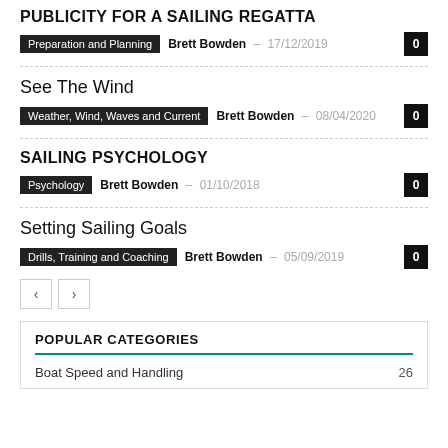PUBLICITY FOR A SAILING REGATTA
Preparation and Planning   Brett Bowden  –  17/12/2019   0
See The Wind
Weather, Wind, Waves and Current   Brett Bowden  –  08/04/2020   0
SAILING PSYCHOLOGY
Psychology   Brett Bowden  –  01/10/2018   0
Setting Sailing Goals
Drills, Training and Coaching   Brett Bowden  –  05/09/2019   0
POPULAR CATEGORIES
Boat Speed and Handling   26